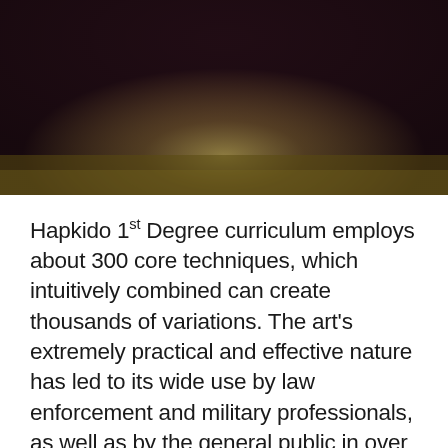[Figure (photo): A blurred dark background image with deep purple/maroon tones at top and an olive/golden glow in the lower center area, likely a martial arts setting.]
Hapkido 1st Degree curriculum employs about 300 core techniques, which intuitively combined can create thousands of variations. The art's extremely practical and effective nature has led to its wide use by law enforcement and military professionals, as well as by the general public in over 100 countries around the world.